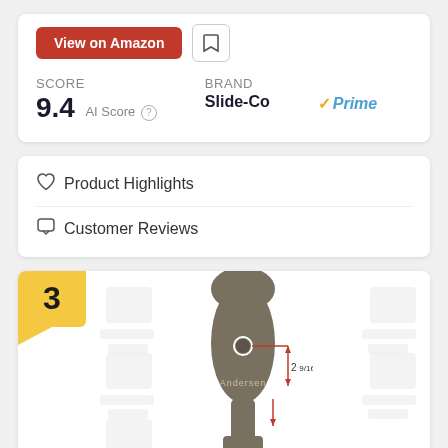[Figure (screenshot): View on Amazon button (red) and a small bookmark icon button]
SCORE
9.4 AI Score
Brand
Slide-Co
✓Prime
♡ Product Highlights
⬜ Customer Reviews
[Figure (photo): Ranked #3 product image showing an Andersen brand handle/hardware piece with measurement annotation '2 9/16"' and a red measurement arrow]